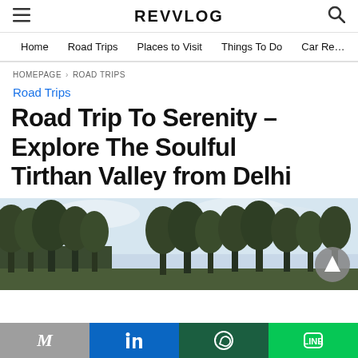REVVLOG
Home | Road Trips | Places to Visit | Things To Do | Car Re…
HOMEPAGE › ROAD TRIPS
Road Trips
Road Trip To Serenity – Explore The Soulful Tirthan Valley from Delhi
[Figure (photo): Scenic outdoor photo showing tall trees against a cloudy sky, representing Tirthan Valley landscape]
Share buttons: Gmail, LinkedIn, WhatsApp, LINE